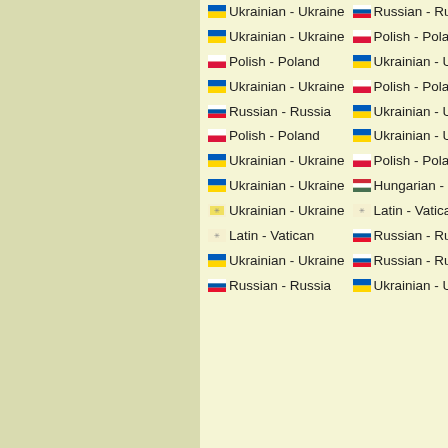| From | To | Word |
| --- | --- | --- |
| Ukrainian - Ukraine | Russian - Russia | Цілеспрямо… |
| Ukrainian - Ukraine | Polish - Poland | Мій |
| Polish - Poland | Ukrainian - Ukraine | Dociekać |
| Ukrainian - Ukraine | Polish - Poland | Шукати |
| Russian - Russia | Ukrainian - Ukraine | Радость |
| Polish - Poland | Ukrainian - Ukraine | Łącznik |
| Ukrainian - Ukraine | Polish - Poland | Побачити |
| Ukrainian - Ukraine | Hungarian - Hungary | Переклад |
| Ukrainian - Ukraine | Latin - Vatican | Вдячність |
| Latin - Vatican | Russian - Russia | Existimatio i… |
| Ukrainian - Ukraine | Russian - Russia | Учитися |
| Russian - Russia | Ukrainian - Ukraine | Застеклить |